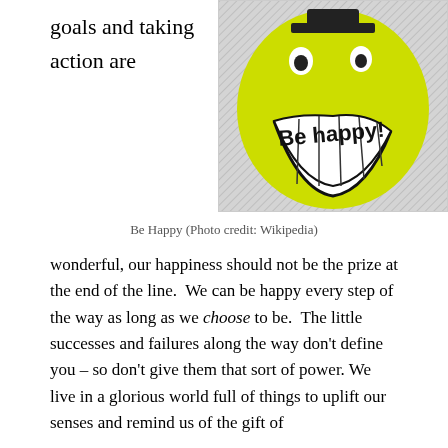goals and taking action are
[Figure (illustration): Yellow smiley face illustration with text 'Be happy!' written across it, hand-drawn style with crosshatch background]
Be Happy (Photo credit: Wikipedia)
wonderful, our happiness should not be the prize at the end of the line.  We can be happy every step of the way as long as we choose to be.  The little successes and failures along the way don’t define you – so don’t give them that sort of power. We live in a glorious world full of things to uplift our senses and remind us of the gift of